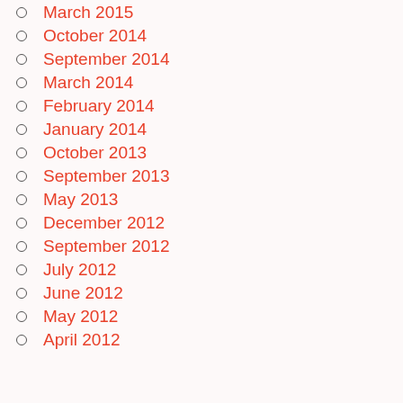March 2015
October 2014
September 2014
March 2014
February 2014
January 2014
October 2013
September 2013
May 2013
December 2012
September 2012
July 2012
June 2012
May 2012
April 2012